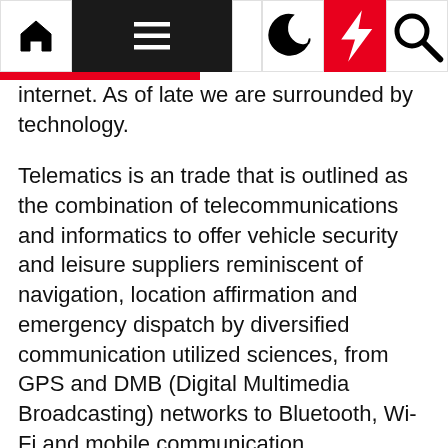Navigation bar with home, menu, moon, bolt, search icons
internet. As of late we are surrounded by technology.
Telematics is an trade that is outlined as the combination of telecommunications and informatics to offer vehicle security and leisure suppliers reminiscent of navigation, location affirmation and emergency dispatch by diversified communication utilized sciences, from GPS and DMB (Digital Multimedia Broadcasting) networks to Bluetooth, Wi-Fi and mobile communication.
Modules are designed to allow college students to develop the pliability to use learning to sensible circumstances. BRTECHNOSOFT is OsCommerce procuring cart development India company who has intensive expertise in customized Oscommerce design and custom module growth. Maybe the